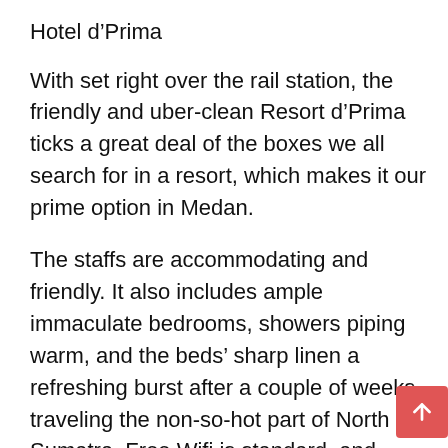Hotel d'Prima
With set right over the rail station, the friendly and uber-clean Resort d'Prima ticks a great deal of the boxes we all search for in a resort, which makes it our prime option in Medan.
The staffs are accommodating and friendly. It also includes ample immaculate bedrooms, showers piping warm, and the beds' sharp linen a refreshing burst after a couple of weeks traveling the non-so-hot part of North Sumatra. Free Wifi is standard, and rooms include tea and coffee, flat-screen TV along with large glass windows that let the light pour inside. One minor quibble is that the “desk” isn’t actually a desk, and if you want to do a little bit of